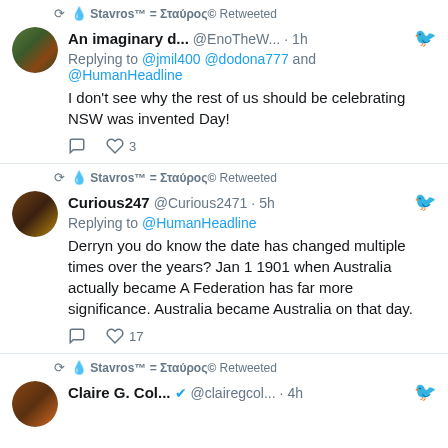💧 Stavros™ = Σταύρος© Retweeted
An imaginary d... @EnoTheW... · 1h
Replying to @jmil400 @dodona777 and @HumanHeadline
I don't see why the rest of us should be celebrating NSW was invented Day!
💧 Stavros™ = Σταύρος© Retweeted
Curious247 @Curious2471 · 5h
Replying to @HumanHeadline
Derryn you do know the date has changed multiple times over the years? Jan 1 1901 when Australia actually became A Federation has far more significance. Australia became Australia on that day.
💧 Stavros™ = Σταύρος© Retweeted
Claire G. Col... @clairegcol... · 4h